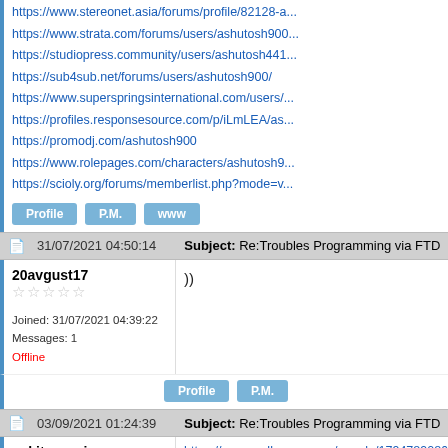https://www.stereonet.asia/forums/profile/82128-a...
https://www.strata.com/forums/users/ashutosh900...
https://studiopress.community/users/ashutosh441...
https://sub4sub.net/forums/users/ashutosh900/
https://www.supersprings international.com/users/...
https://profiles.responsesource.com/p/iLmLEA/as...
https://promodj.com/ashutosh900
https://www.rolepages.com/characters/ashutosh9...
https://scioly.org/forums/memberlist.php?mode=v...
Profile  P.M.  www
31/07/2021 04:50:14   Subject: Re:Troubles Programming via FTDI / Arduino...
20avgust17
☆☆☆☆☆
Joined: 31/07/2021 04:39:22
Messages: 1
Offline
))
Profile  P.M.
03/09/2021 01:24:39   Subject: Re:Troubles Programming via FTDI / Arduino...
ankitauproi
☆☆☆☆☆
Joined: 03/09/2021 01:18:51
Messages: 19
https://www.walkscore.com/people/17947890868...
https://www.mapleprimes.com/users/ashuuproi
https://www.jigsawplanet.com/ashuuproi?viewas=...
https://www.techsite.io/u/ashuuproi/posts